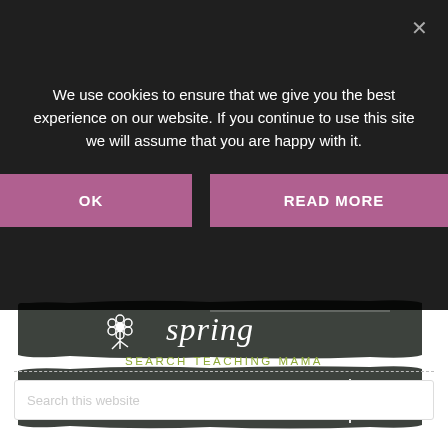We use cookies to ensure that we give you the best experience on our website. If you continue to use this site we will assume that you are happy with it.
OK
READ MORE
[Figure (illustration): Chalkboard banner with flower icon and 'spring' handwritten text in white on dark gray/chalkboard background]
[Figure (illustration): Chalkboard banner with 'summer' text and sun icon in white on dark gray/chalkboard background]
SEARCH TEACHING MAMA
Search this website